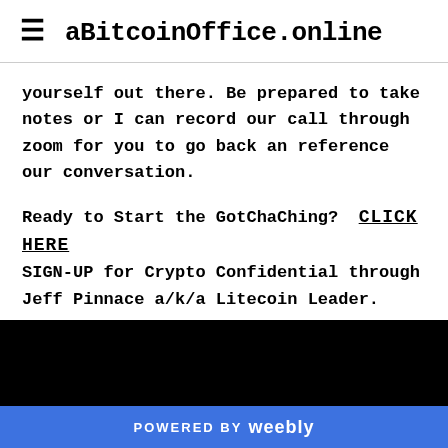aBitcoinOffice.online
yourself out there. Be prepared to take notes or I can record our call through zoom for you to go back an reference our conversation.
Ready to Start the GotChaChing? CLICK HERE SIGN-UP for Crypto Confidential through Jeff Pinnace a/k/a Litecoin Leader.
POWERED BY weebly